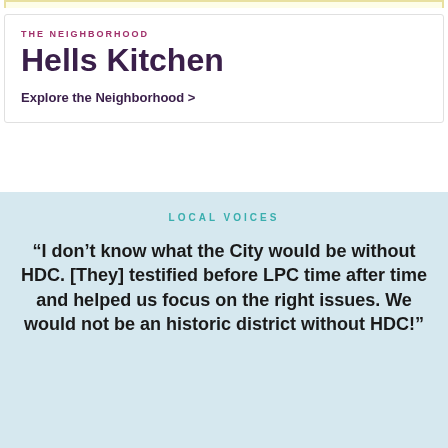THE NEIGHBORHOOD
Hells Kitchen
Explore the Neighborhood >
LOCAL VOICES
“I don’t know what the City would be without HDC. [They] testified before LPC time after time and helped us focus on the right issues. We would not be an historic district without HDC!”